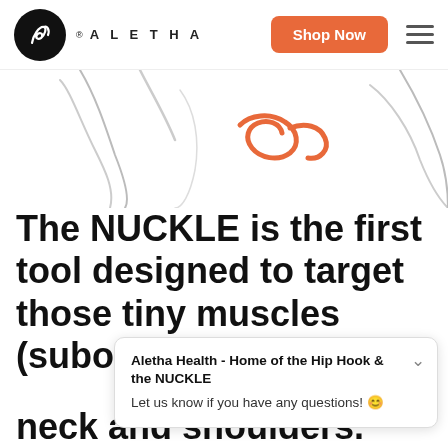[Figure (logo): Aletha brand logo with circular black icon and brand name text, Shop Now orange button, and hamburger menu]
[Figure (illustration): Partial product illustration showing orange curved NUCKLE tool outline against white background]
The NUCKLE is the first tool designed to target those tiny muscles (suboccipital muscles)
neck and shoulders.
Aletha Health - Home of the Hip Hook & the NUCKLE
Let us know if you have any questions! 😊